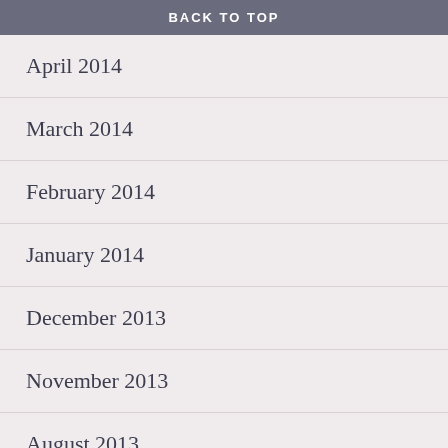BACK TO TOP
April 2014
March 2014
February 2014
January 2014
December 2013
November 2013
August 2013
July 2013
June 2013